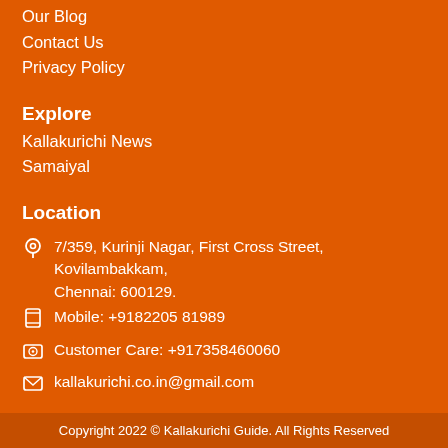Our Blog
Contact Us
Privacy Policy
Explore
Kallakurichi News
Samaiyal
Location
7/359, Kurinji Nagar, First Cross Street, Kovilambakkam, Chennai: 600129.
Mobile: +9182205 81989
Customer Care: +917358460060
kallakurichi.co.in@gmail.com
Copyright 2022 © Kallakurichi Guide. All Rights Reserved